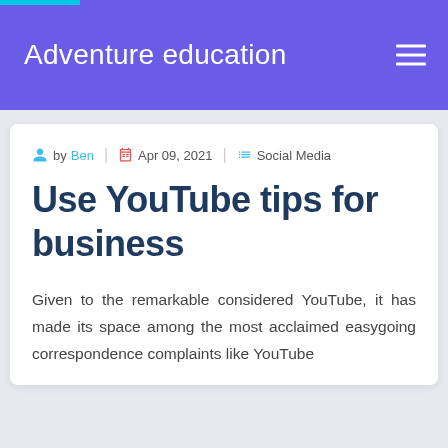Adventure education
by Ben | Apr 09, 2021 | Social Media
Use YouTube tips for business
Given to the remarkable considered YouTube, it has made its space among the most acclaimed easygoing correspondence complaints like YouTube